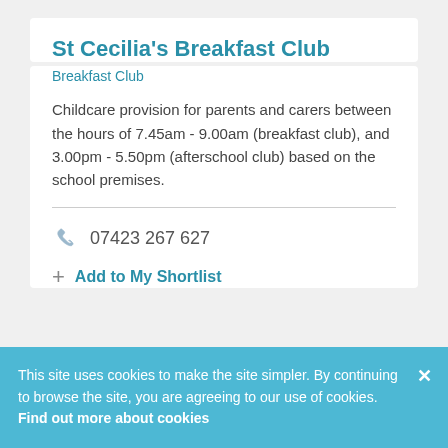St Cecilia's Breakfast Club
Breakfast Club
Childcare provision for parents and carers between the hours of 7.45am - 9.00am (breakfast club), and 3.00pm - 5.50pm (afterschool club) based on the school premises.
07423 267 627
Add to My Shortlist
This site uses cookies to make the site simpler. By continuing to browse the site, you are agreeing to our use of cookies. Find out more about cookies